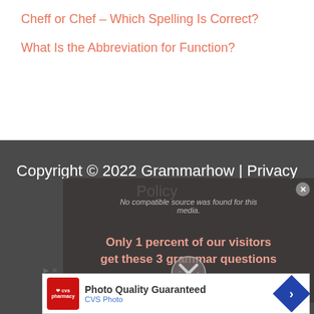Cheff or Chef – Which Spelling Is Correct?
What Is the Abbreviation for Function?
Copyright © 2022 Grammarhow | Privacy Policy
[Figure (screenshot): Video player overlay showing 'No compatible source was found for this media.' error message with a close button and a promotional text 'Only 1 percent of our visitors get these 3 grammar questions right.']
[Figure (screenshot): CVS Photo advertisement banner: 'Photo Quality Guaranteed' with CVS Pharmacy logo and blue navigation arrow icon]